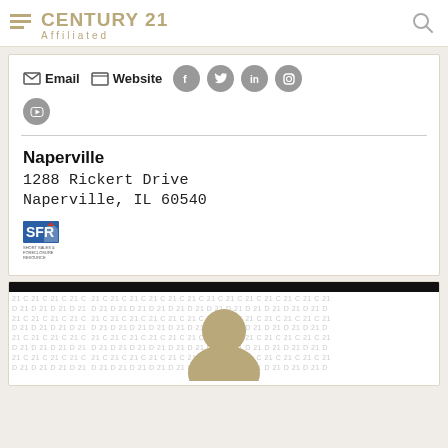CENTURY 21 Affiliated
Email  Website
Naperville
1288 Rickert Drive
Naperville, IL 60540
[Figure (logo): SFR Short Sales & Foreclosure Resource logo]
[Figure (illustration): Century 21 branded pattern background with agent silhouette profile]